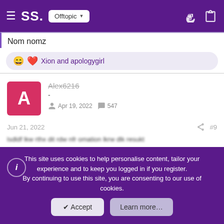SS. Offtopic
Nom nomz
😄❤️ Xion and apologygirl
Alex6216
-
Apr 19, 2022  547
Jun 21, 2022  #9
This site uses cookies to help personalise content, tailor your experience and to keep you logged in if you register. By continuing to use this site, you are consenting to our use of cookies.